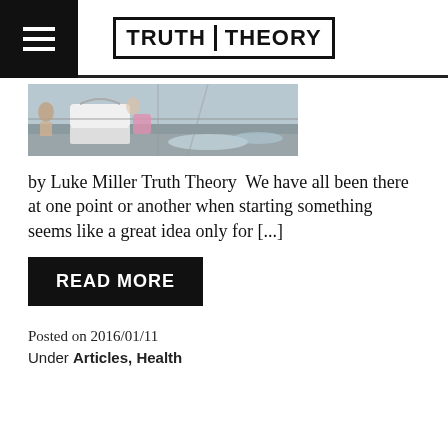TRUTH THEORY
[Figure (photo): Outdoor scene with a large white bucket/barrel and water or icy environment, people in background]
by Luke Miller Truth Theory  We have all been there at one point or another when starting something seems like a great idea only for [...]
READ MORE
Posted on 2016/01/11
Under Articles, Health